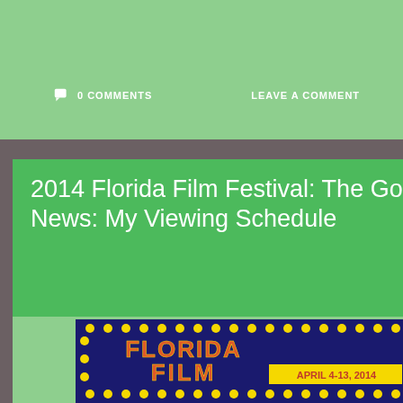0 COMMENTS    LEAVE A COMMENT
2014 Florida Film Festival: The Good News: My Viewing Schedule
[Figure (other): Florida Film Festival poster with dark blue background, yellow dots border, colorful text reading FLORIDA FILM FESTIVAL APRIL 4-13, 2014]
APRIL 4, 2014
KAREN
MOVIES
FILM FESTIVAL